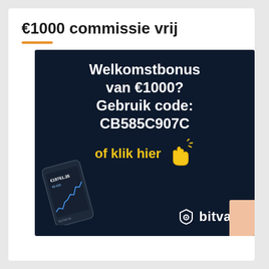€1000 commissie vrij
[Figure (infographic): Dark navy blue advertisement banner for Bitvavo crypto exchange. White bold text reads: 'Welkomstbonus van €1000? Gebruik code: CB585C907C'. Below in yellow: 'of klik hier' with a yellow hand/click emoji icon. Bottom left shows a smartphone with a crypto price chart showing €19761. Bottom right shows the Bitvavo shield logo and wordmark in white. Bottom right corner has a peach/salmon colored rounded rectangle tab.]